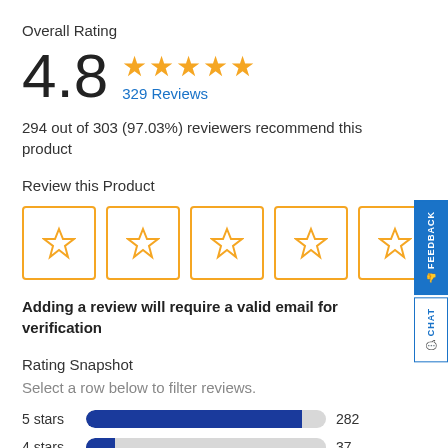Overall Rating
4.8  ★★★★★  329 Reviews
294 out of 303 (97.03%) reviewers recommend this product
Review this Product
[Figure (other): Five empty star rating boxes with gold borders for user input]
Adding a review will require a valid email for verification
Rating Snapshot
Select a row below to filter reviews.
[Figure (bar-chart): Rating Snapshot]